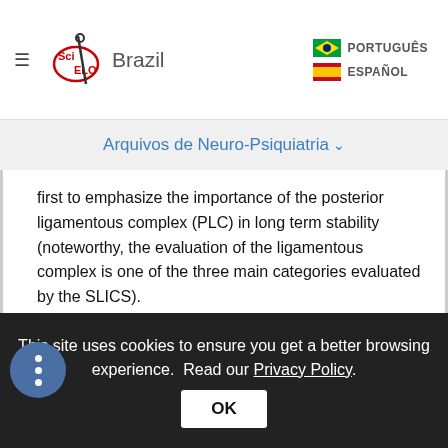SciELO Brazil — PORTUGUÊS / ESPAÑOL
Arquivos de Neuro-Psiquiatria ∨
first to emphasize the importance of the posterior ligamentous complex (PLC) in long term stability (noteworthy, the evaluation of the ligamentous complex is one of the three main categories evaluated by the SLICS).
In 1982, Allen et al. 3 subsequently proposed their mechanistic classification scheme for subaxial injuries, which was also based upon the findings of plain radiographs. A total of six main categories were defined by Allen: compressive flexion, vertical compression, distractive flexion, compressive
This site uses cookies to ensure you get a better browsing experience. Read our Privacy Policy.